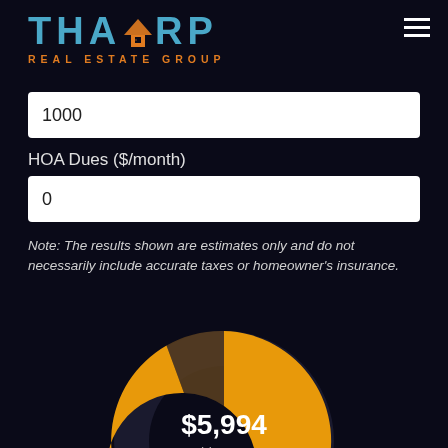[Figure (logo): Tharp Real Estate Group logo with blue 'THARP' text and orange house/grid icon, orange 'REAL ESTATE GROUP' subtext]
1000
HOA Dues ($/month)
0
Note: The results shown are estimates only and do not necessarily include accurate taxes or homeowner's insurance.
[Figure (donut-chart): Donut chart showing $5,994 monthly payment. Large golden/orange arc for principal/interest, smaller dark brownish arc for other costs. Center shows $5,994 Monthly Payment.]